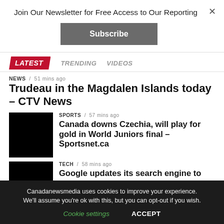Join Our Newsletter for Free Access to Our Reporting
Subscribe
LATEST   TRENDING   VIDEOS
NEWS / 51 mins ago
Trudeau in the Magdalen Islands today – CTV News
SPORTS / 57 mins ago
Canada downs Czechia, will play for gold in World Juniors final – Sportsnet.ca
[Figure (photo): Black thumbnail image for sports story]
TECH / 58 mins ago
Google updates its search engine to
[Figure (photo): Black thumbnail image for tech story]
Canadanewsmedia uses cookies to improve your experience. We'll assume you're ok with this, but you can opt-out if you wish.
Cookie settings   ACCEPT